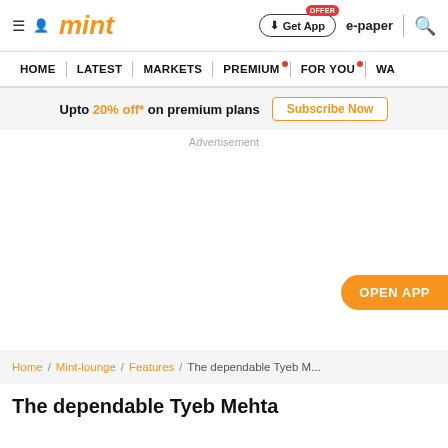mint | Get App | e-paper | search
HOME | LATEST | MARKETS | PREMIUM | FOR YOU | WA
Upto 20% off* on premium plans  Subscribe Now
Advertisement
OPEN APP
Home / Mint-lounge / Features / The dependable Tyeb M...
The dependable Tyeb Mehta